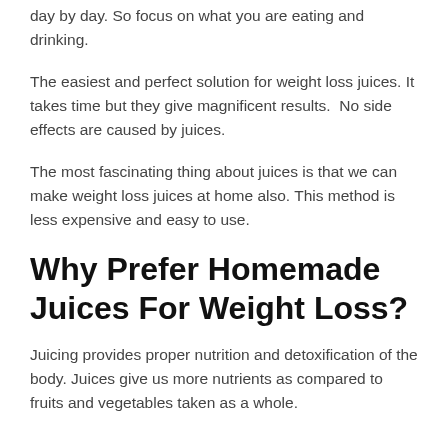day by day. So focus on what you are eating and drinking.
The easiest and perfect solution for weight loss juices. It takes time but they give magnificent results. No side effects are caused by juices.
The most fascinating thing about juices is that we can make weight loss juices at home also. This method is less expensive and easy to use.
Why Prefer Homemade Juices For Weight Loss?
Juicing provides proper nutrition and detoxification of the body. Juices give us more nutrients as compared to fruits and vegetables taken as a whole.